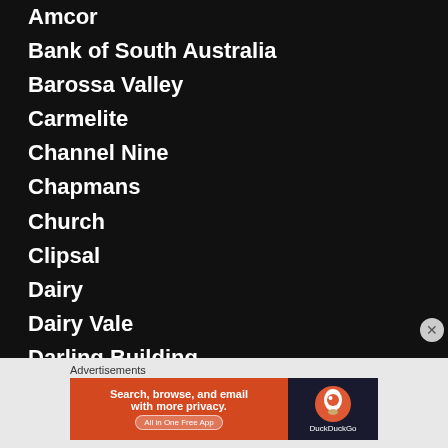Amcor
Bank of South Australia
Barossa Valley
Carmelite
Channel Nine
Chapmans
Church
Clipsal
Dairy
Dairy Vale
Darling Building
Demolished Adelaide
Derek Jolly
derelict
Advertisements
[Figure (other): DuckDuckGo advertisement banner: orange left panel with text 'Search, browse, and email with more privacy. All in One Free App' and dark right panel with DuckDuckGo logo]